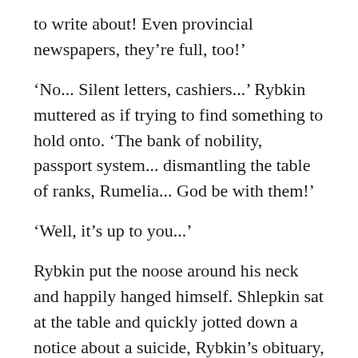to write about! Even provincial newspapers, they're full, too!'
'No... Silent letters, cashiers...' Rybkin muttered as if trying to find something to hold onto. 'The bank of nobility, passport system... dismantling the table of ranks, Rumelia... God be with them!'
'Well, it's up to you...'
Rybkin put the noose around his neck and happily hanged himself. Shlepkin sat at the table and quickly jotted down a notice about a suicide, Rybkin's obituary, a feuilleton about the frequency of suicides, an editorial about strengthening the punishment for suicides, and several other articles on the same topic. Having written all that, he put